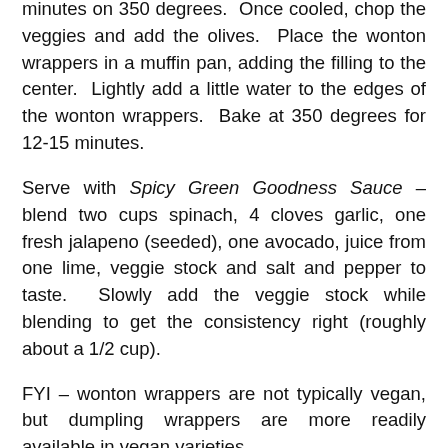minutes on 350 degrees. Once cooled, chop the veggies and add the olives. Place the wonton wrappers in a muffin pan, adding the filling to the center. Lightly add a little water to the edges of the wonton wrappers. Bake at 350 degrees for 12-15 minutes.
Serve with Spicy Green Goodness Sauce – blend two cups spinach, 4 cloves garlic, one fresh jalapeno (seeded), one avocado, juice from one lime, veggie stock and salt and pepper to taste. Slowly add the veggie stock while blending to get the consistency right (roughly about a 1/2 cup).
FYI – wonton wrappers are not typically vegan, but dumpling wrappers are more readily available in vegan varieties.